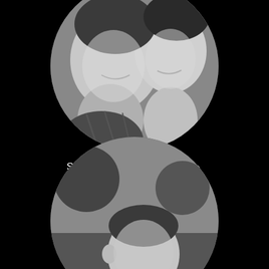[Figure (photo): Circular black and white photo of two people smiling together (a man and a woman), cropped in a circle against black background]
SCOTT HENINGER › Founder and CEO
[Figure (photo): Circular black and white photo of a man, partially visible, cropped in a circle at the bottom of the page against black background]